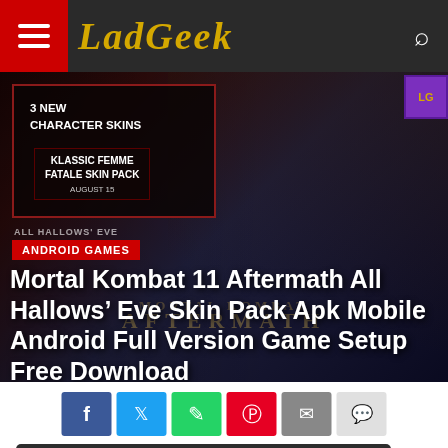LadGeek
[Figure (screenshot): Mortal Kombat 11 Aftermath All Hallows Eve Skin Pack promotional image showing three game characters with text overlays: '3 NEW CHARACTER SKINS', 'KLASSIC FEMME FATALE SKIN PACK AUGUST 15', and 'ALL HALLOWS EVE'. The background shows the Mortal Kombat Aftermath logo.]
ANDROID GAMES
Mortal Kombat 11 Aftermath All Hallows’ Eve Skin Pack Apk Mobile Android Full Version Game Setup Free Download
Enable Notifications  OK  No thanks
Mortal Kombat 11 Aftermath All Hallows’ Eve Skin Pack Apk Mobile